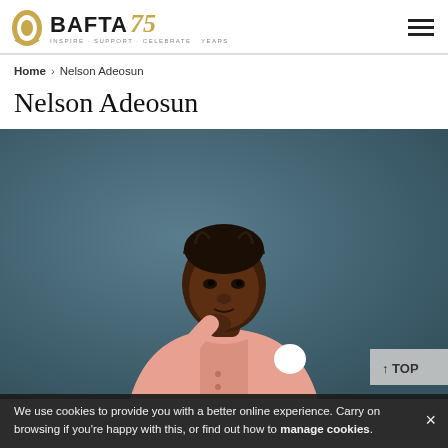BAFTA 75 — navigation header with logo and hamburger menu
Home > Nelson Adeosun
Nelson Adeosun
[Figure (photo): Portrait photo of Nelson Adeosun, a young Black man wearing a pink/salmon coloured blazer with a white circular pin badge, sitting with his hand raised to his chin against a blue-grey background.]
We use cookies to provide you with a better online experience. Carry on browsing if you're happy with this, or find out how to manage cookies.